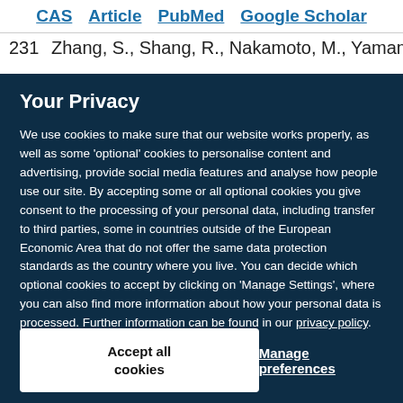CAS   Article   PubMed   Google Scholar
231  Zhang, S., Shang, R., Nakamoto, M., Yamamoto, Y.,
Your Privacy
We use cookies to make sure that our website works properly, as well as some ‘optional’ cookies to personalise content and advertising, provide social media features and analyse how people use our site. By accepting some or all optional cookies you give consent to the processing of your personal data, including transfer to third parties, some in countries outside of the European Economic Area that do not offer the same data protection standards as the country where you live. You can decide which optional cookies to accept by clicking on ‘Manage Settings’, where you can also find more information about how your personal data is processed. Further information can be found in our privacy policy.
Accept all cookies
Manage preferences